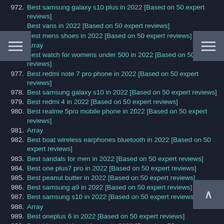972. Best samsung galaxy s10 plus in 2022 [Based on 50 expert reviews]
Best vans in 2022 [Based on 50 expert reviews]
Best mens shoes in 2022 [Based on 50 expert reviews]
975. Array
976. Best watch for womens under 500 in 2022 [Based on 50 expert reviews]
977. Best redmi note 7 pro phone in 2022 [Based on 50 expert reviews]
978. Best samsung galaxy s10 in 2022 [Based on 50 expert reviews]
979. Best redmi 4 in 2022 [Based on 50 expert reviews]
980. Best realme 5pro mobile phone in 2022 [Based on 50 expert reviews]
981. Array
982. Best boat wireless earphones bluetooth in 2022 [Based on 50 expert reviews]
983. Best sandals for men in 2022 [Based on 50 expert reviews]
984. Best one plus7 pro in 2022 [Based on 50 expert reviews]
985. Best peanut butter in 2022 [Based on 50 expert reviews]
986. Best samsung a9 in 2022 [Based on 50 expert reviews]
987. Best samsung s10 in 2022 [Based on 50 expert reviews]
988. Array
989. Best oneplus 6 in 2022 [Based on 50 expert reviews]
990. Best bluetooth headphones in 2022 [Based on 50 expert reviews]
991. Best hp laptop in 2022 [Based on 50 expert reviews]
992. Best galaxy m20 in 2022 [Based on 50 expert reviews]
993. Best real me 3 pro in 2022 [Based on 50 expert reviews]
994. Array
995. Best food processors in 2022 [Based on 50 expert